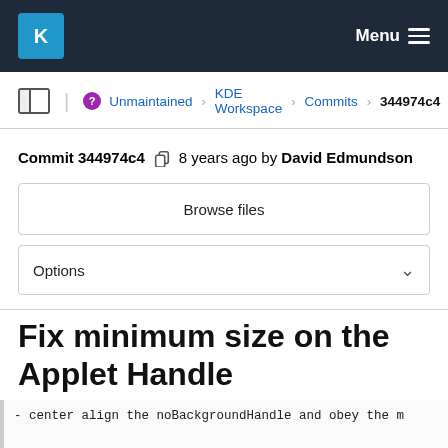KDE — Menu
Unmaintained > KDE Workspace > Commits > 344974c4
Commit 344974c4  8 years ago by David Edmundson
Browse files
Options
Fix minimum size on the Applet Handle
- center align the noBackgroundHandle and obey the m
- made the mouse event listener that controls whethe handle separate from the size of the applet, so we c controls when the applet is smaller than the handle